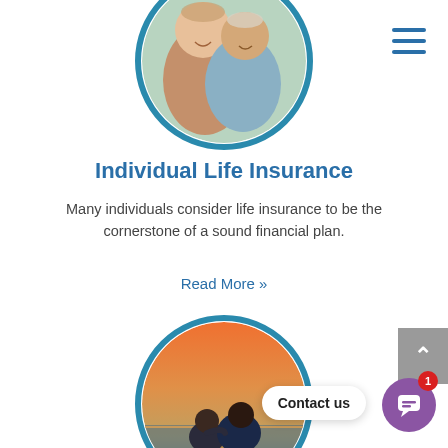[Figure (photo): Circular photo of a smiling middle-aged woman hugging an older man, cropped at top of page]
Individual Life Insurance
Many individuals consider life insurance to be the cornerstone of a sound financial plan.
Read More »
[Figure (photo): Circular photo of two people sitting together watching a sunset over water]
Contact us